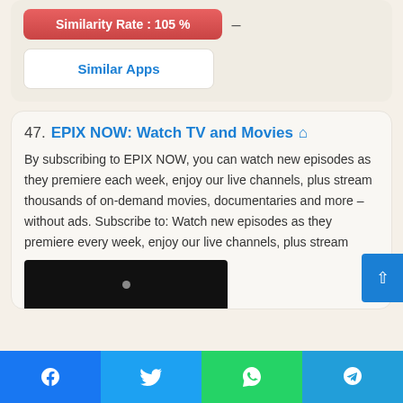[Figure (screenshot): Red button showing 'Similarity Rate : 105 %' with a dash beside it, and a white 'Similar Apps' button below]
47. EPIX NOW: Watch TV and Movies
By subscribing to EPIX NOW, you can watch new episodes as they premiere each week, enjoy our live channels, plus stream thousands of on-demand movies, documentaries and more – without ads. Subscribe to: Watch new episodes as they premiere every week, enjoy our live channels, plus stream
[Figure (screenshot): Dark/black app screenshot thumbnail at bottom of entry 47]
[Figure (screenshot): Bottom social sharing bar with Facebook, Twitter, WhatsApp, and Telegram buttons]